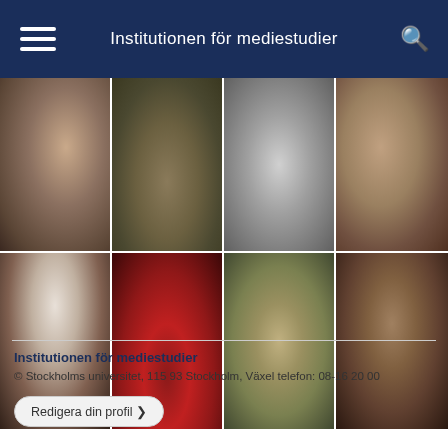Institutionen för mediestudier
[Figure (photo): Grid of 8 blurred thumbnail images arranged in 2 rows of 4]
Institutionen för mediestudier
© Stockholms universitet, 115 93 Stockholm, Växel telefon: 08-16 20 00
Redigera din profil ›